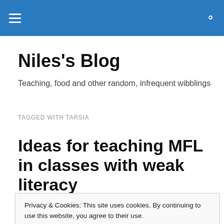Niles's Blog — navigation header bar with menu and search icons
Niles's Blog
Teaching, food and other random, infrequent wibblings
TAGGED WITH TARSIA
Ideas for teaching MFL in classes with weak literacy
Privacy & Cookies: This site uses cookies. By continuing to use this website, you agree to their use.
To find out more, including how to control cookies, see here: Cookie Policy